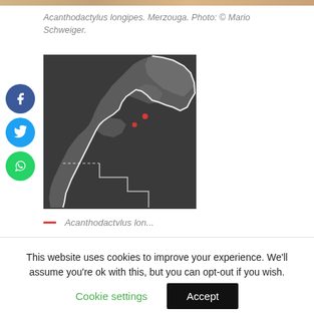[Figure (photo): Top strip image of sand/desert terrain, Acanthodactylus longipes habitat at Merzouga]
Acanthodactylus longipes. Merzouga. Photo: © Mario Schweiger.
[Figure (map): Grayscale satellite map of Morocco with white border outline and two red location markers near Merzouga area]
This website uses cookies to improve your experience. We'll assume you're ok with this, but you can opt-out if you wish.
Cookie settings    Accept